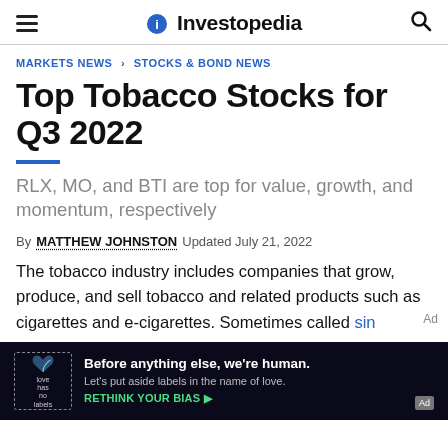Investopedia
MARKETS NEWS > STOCKS & BOND NEWS
Top Tobacco Stocks for Q3 2022
RLX, MO, and BTI are top for value, growth, and momentum, respectively
By MATTHEW JOHNSTON Updated July 21, 2022
The tobacco industry includes companies that grow, produce, and sell tobacco and related products such as cigarettes and e-cigarettes. Sometimes called sin
[Figure (other): Ad banner: 'Before anything else, we're human. Let's put aside labels in the name of love. RETHINK YOUR BIAS' with a bird/dove illustration and love has no labels logo on dark background]